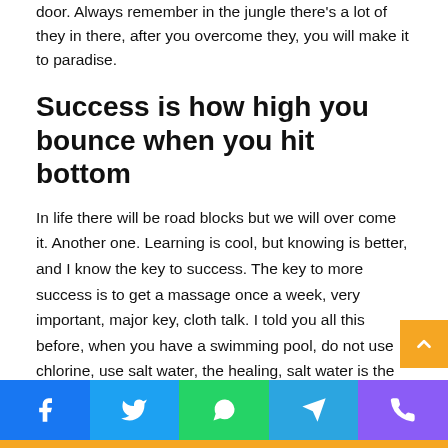door. Always remember in the jungle there's a lot of they in there, after you overcome they, you will make it to paradise.
Success is how high you bounce when you hit bottom
In life there will be road blocks but we will over come it. Another one. Learning is cool, but knowing is better, and I know the key to success. The key to more success is to get a massage once a week, very important, major key, cloth talk. I told you all this before, when you have a swimming pool, do not use chlorine, use salt water, the healing, salt water is the healing. I'm up to something. Life is what you make it, so let's make it. The other day the grass was brown, now it's green because I ain't give up. Never surrender.
[Figure (other): Social sharing bar with Facebook, Twitter, WhatsApp, Telegram, and Phone icons]